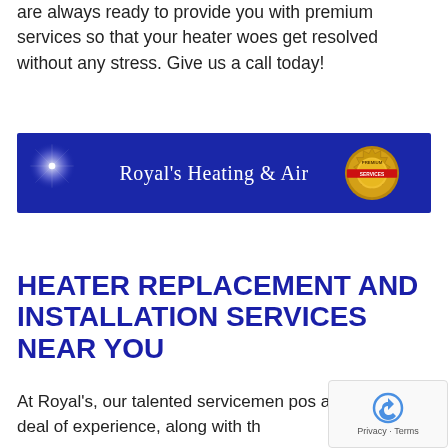are always ready to provide you with premium services so that your heater woes get resolved without any stress. Give us a call today!
[Figure (logo): Royal's Heating & Air blue banner with gold badge/seal logo on the right and a light glow/spark on the left]
HEATER REPLACEMENT AND INSTALLATION SERVICES NEAR YOU
At Royal's, our talented servicemen pos a great deal of experience, along with th